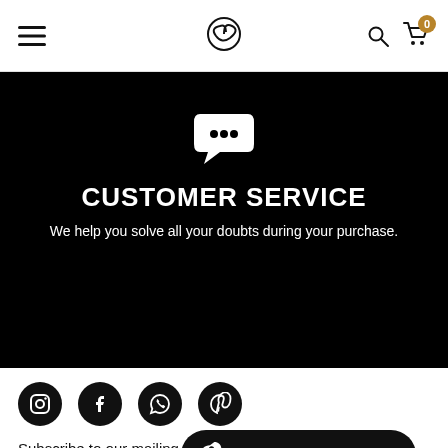Navigation bar with hamburger menu, spiral logo, search icon, and cart (0)
CUSTOMER SERVICE
We help you solve all your doubts during your purchase.
[Figure (illustration): Four social media icons (Instagram, Facebook, WhatsApp, Pinterest) in black circles]
Subscribe to our mailing l... your next purchase.
Do you need help?